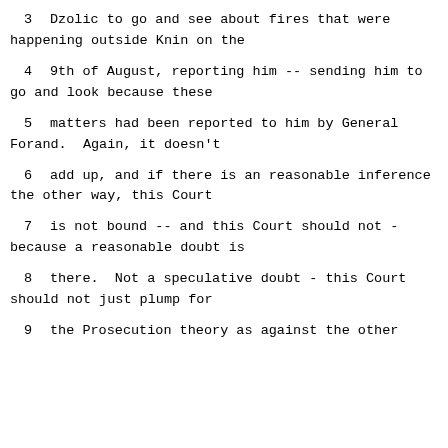3     Dzolic to go and see about fires that were happening outside Knin on the
4     9th of August, reporting him -- sending him to go and look because these
5     matters had been reported to him by General Forand.  Again, it doesn't
6     add up, and if there is an reasonable inference the other way, this Court
7     is not bound -- and this Court should not - because a reasonable doubt is
8     there.  Not a speculative doubt - this Court should not just plump for
9     the Prosecution theory as against the other